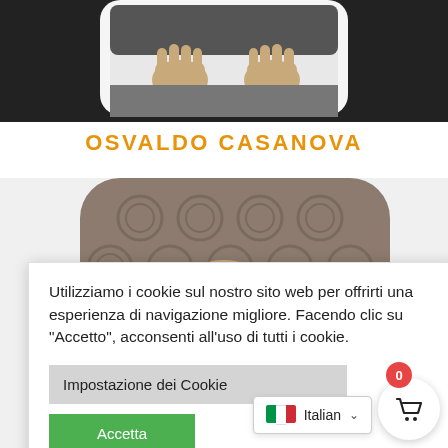[Figure (photo): Top portion of person's hands and lap, dark clothing, shown from above, cropped]
OSVALDO CASANOVA
[Figure (photo): Top-down view of a bald person seated in an ornate patterned chair/fabric, shown from above]
Utilizziamo i cookie sul nostro sito web per offrirti una esperienza di navigazione migliore. Facendo clic su "Accetto", acconsenti all'uso di tutti i cookie.
Impostazione dei Cookie
Accetta
Italian